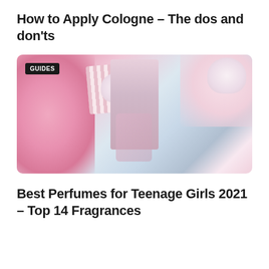How to Apply Cologne – The dos and don'ts
[Figure (photo): Flat lay photo of pink-themed perfume and beauty items including meringue cookies, a perfume bottle, a woman in pink outfit, pink rope, and striped fabric, with a GUIDES badge overlay]
Best Perfumes for Teenage Girls 2021 – Top 14 Fragrances